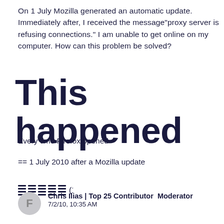On 1 July Mozilla generated an automatic update. Immediately after, I received the message"proxy server is refusing connections." I am unable to get online on my computer. How can this problem be solved?
This happened
Every time Firefox opened
== 1 July 2010 after a Mozilla update
[Figure (other): Vote/thumbs up icon with count (14)]
Chris Ilias | Top 25 Contributor  Moderator
7/2/10, 10:35 AM